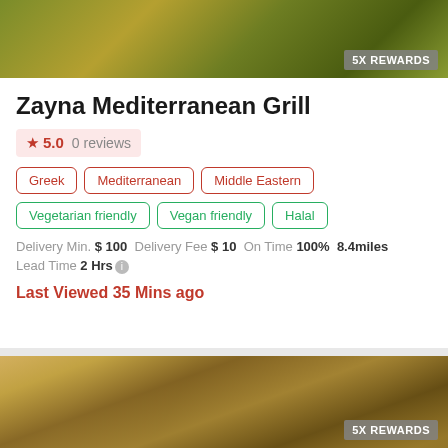[Figure (photo): Food photo showing grilled vegetables and skewers with a '5X REWARDS' badge in the bottom right corner]
Zayna Mediterranean Grill
★ 5.0  0 reviews
Greek
Mediterranean
Middle Eastern
Vegetarian friendly
Vegan friendly
Halal
Delivery Min. $ 100  Delivery Fee $ 10  On Time 100%  8.4miles
Lead Time 2 Hrs ℹ
Last Viewed 35 Mins ago
[Figure (photo): Food photo showing sandwiches/wraps sliced and arranged in a cardboard box with a '5X REWARDS' badge in the bottom right corner]